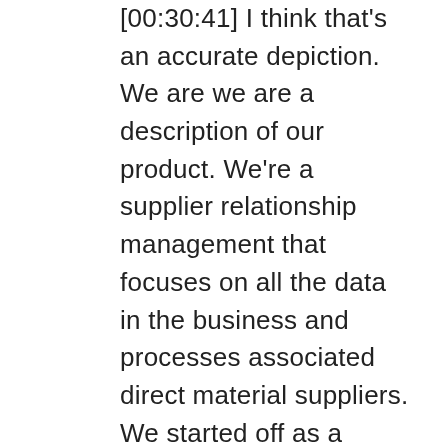[00:30:41] I think that's an accurate depiction. We are we are a description of our product. We're a supplier relationship management that focuses on all the data in the business and processes associated direct material suppliers. We started off as a strategic sourcing system, but most systems in that space focus on the indirect, you know, so they are buying off a cap standard parts off a catalog and it's about large volume of high volume, low dollar items. So it's really about efficiency. But in the direct material side, it's a lot more than just price. You know, so we've